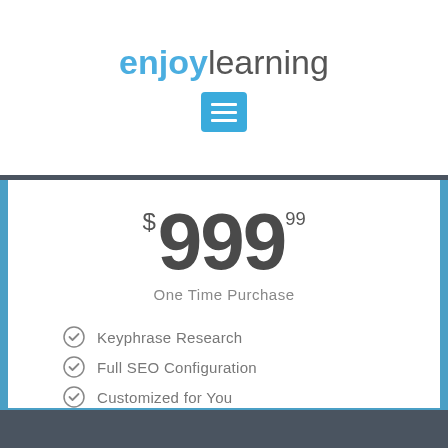enjoylearning
[Figure (other): Blue menu/hamburger icon button]
$999.99
One Time Purchase
Keyphrase Research
Full SEO Configuration
Customized for You
Add to Cart